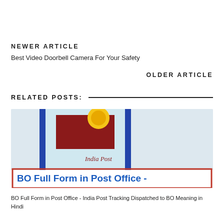Newer Article
Best Video Doorbell Camera For Your Safety
Older Article
RELATED POSTS:
[Figure (photo): India Post logo image with a red envelope and yellow circular emblem above text reading 'India Post', with a banner overlay reading 'BO Full Form in Post Office -']
BO Full Form in Post Office - India Post Tracking Dispatched to BO Meaning in Hindi